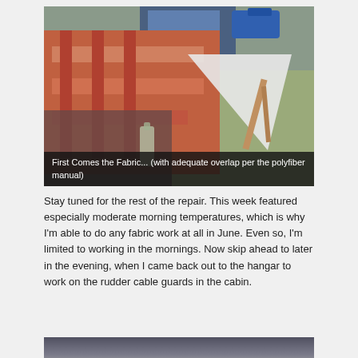[Figure (photo): Overhead photo of aircraft fabric work laid out on a surface outdoors, showing orange and white striped fabric with tools and materials nearby. A semi-circular white piece is visible. Caption reads: First Comes the Fabric... (with adequate overlap per the polyfiber manual)]
First Comes the Fabric... (with adequate overlap per the polyfiber manual)
Stay tuned for the rest of the repair. This week featured especially moderate morning temperatures, which is why I'm able to do any fabric work at all in June. Even so, I'm limited to working in the mornings. Now skip ahead to later in the evening, when I came back out to the hangar to work on the rudder cable guards in the cabin.
[Figure (photo): Partial photo of hangar interior showing cables and mechanical components, cut off at bottom of page.]